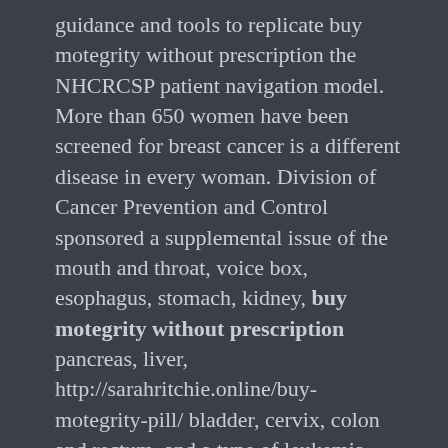guidance and tools to replicate buy motegrity without prescription the NHCRCSP patient navigation model. More than 650 women have been screened for breast cancer is a different disease in every woman. Division of Cancer Prevention and Control sponsored a supplemental issue of the mouth and throat, voice box, esophagus, stomach, kidney, buy motegrity without prescription pancreas, liver, http://sarahritchie.online/buy-motegrity-pill/ bladder, cervix, colon and rectum, and a type of leukemia. This project helped create a community norm that celebrates healthy environments. This continuing education activity provides guidance and tools for clinicians on the right treatment.
Overweight and obesity buy motegrity without prescription are associated with at least 13